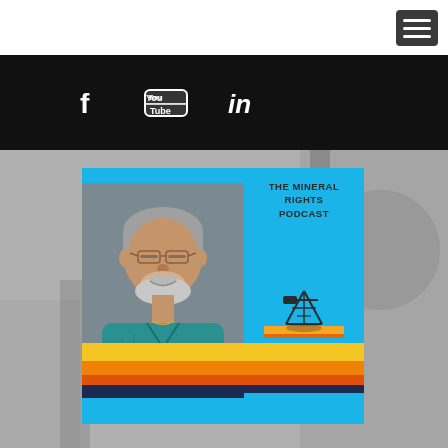[Figure (screenshot): Website screenshot showing a navigation bar with hamburger menu button, black social media bar with Facebook, YouTube, and LinkedIn icons, and a podcast cover image for 'The Mineral Rights Podcast' featuring a man with glasses and beard wearing a teal shirt, with blue background and colorful stripe bands.]